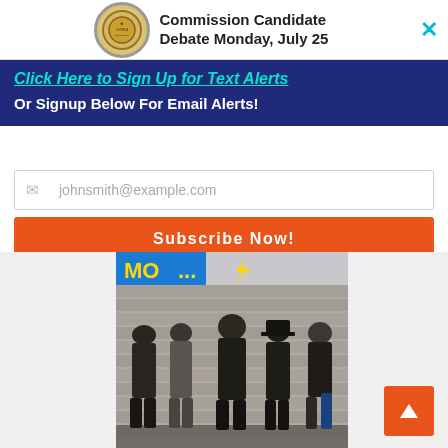[Figure (screenshot): Banner advertisement showing a badge/seal logo and text 'Commission Candidate Debate Monday, July 25' with a teal close button (×)]
Click Here to Sign Up for Text Alerts
Or Signup Below For Email Alerts!
johnsmith@example.com
Subscribe Now!
[Figure (photo): Five-member rock band posing in front of a brick wall with a colorful neon-style sign partially visible above. Band members dressed in dark clothing, leather, and rock style attire.]